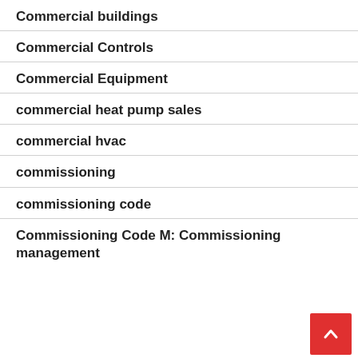Commercial buildings
Commercial Controls
Commercial Equipment
commercial heat pump sales
commercial hvac
commissioning
commissioning code
Commissioning Code M: Commissioning management